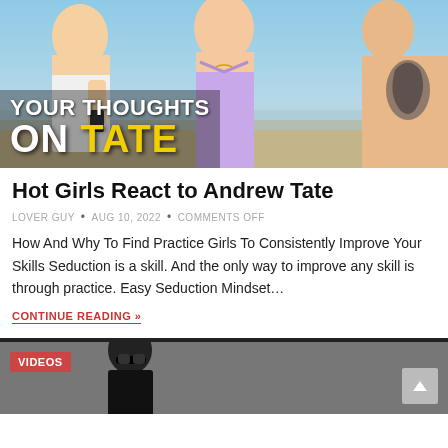[Figure (photo): Thumbnail image showing three people at a beach/outdoor setting with text overlay 'YOUR THOUGHTS ON TATE' in white and yellow bold lettering]
Hot Girls React to Andrew Tate
LOVER GUY  •  AUG 10, 2022  •  COMMENTS OFF
How And Why To Find Practice Girls To Consistently Improve Your Skills Seduction is a skill. And the only way to improve any skill is through practice. Easy Seduction Mindset…
CONTINUE READING »
[Figure (photo): Partial thumbnail of next post with VIDEOS badge, showing a person in dark clothing, partially cropped]